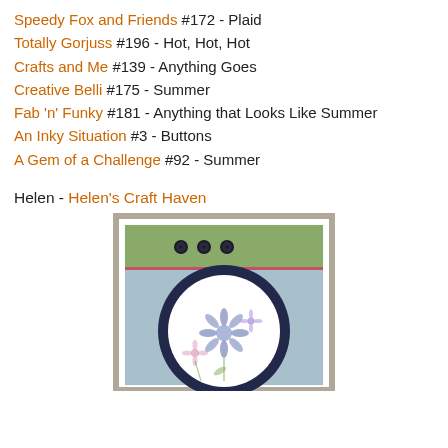Speedy Fox and Friends #172 - Plaid
Totally Gorjuss #196 - Hot, Hot, Hot
Crafts and Me #139 - Anything Goes
Creative Belli #175 - Summer
Fab 'n' Funky #181 - Anything that Looks Like Summer
An Inky Situation #3 - Buttons
A Gem of a Challenge #92 - Summer
Helen - Helen's Craft Haven
[Figure (photo): A handmade greeting card featuring a light blue background with an embossed texture, a green strip at the top with three dark buttons, a decorative dark blue scalloped circle frame, and a white circular panel with floral stamped images in blue, pink, and purple flowers.]